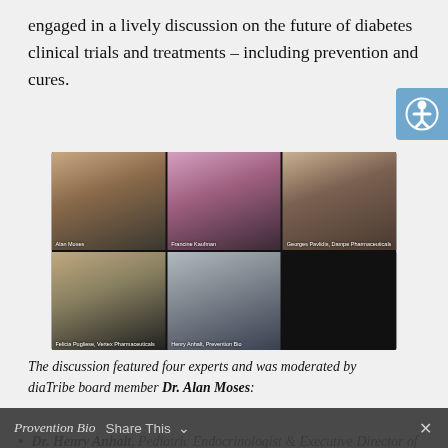engaged in a lively discussion on the future of diabetes clinical trials and treatments – including prevention and cures.
[Figure (photo): Screenshot of a video call showing five participants in a grid layout: Alan Moses (top-left), Francine Kaufman (top-center), Georges Pavlidis from Dampe Pharmaceuticals (top-right), Felicia Pugliese from Vertex Pharmaceuticals (bottom-left), and Henry Anhalt from Prevention Bio (bottom-right).]
The discussion featured four experts and was moderated by diaTribe board member Dr. Alan Moses:
Dr. Henry Anhalt, Pediatric Endocrinologist & Executive Director of Medical Affairs, Provention Bio
Provention Bio   Share This   ×